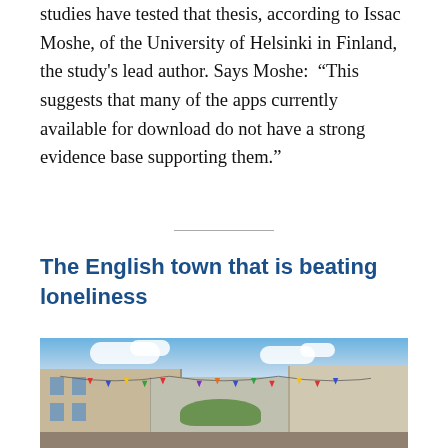studies have tested that thesis, according to Issac Moshe, of the University of Helsinki in Finland, the study's lead author. Says Moshe:  “This suggests that many of the apps currently available for download do not have a strong evidence base supporting them.”
The English town that is beating loneliness
[Figure (photo): Street scene of an English town with stone and brick buildings, bunting flags strung across the street, blue sky with clouds, and green trees visible in the background.]